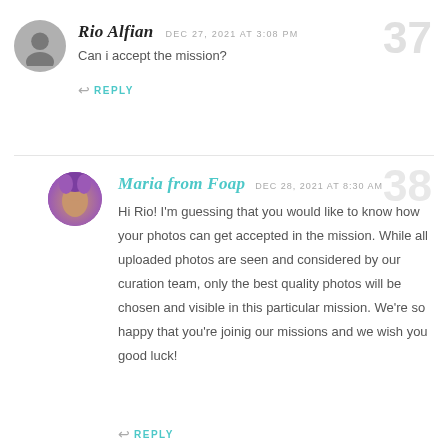Rio Alfian  DEC 27, 2021 AT 3:08 PM
Can i accept the mission?
REPLY
Maria from Foap  DEC 28, 2021 AT 8:30 AM
Hi Rio! I'm guessing that you would like to know how your photos can get accepted in the mission. While all uploaded photos are seen and considered by our curation team, only the best quality photos will be chosen and visible in this particular mission. We're so happy that you're joinig our missions and we wish you good luck!
REPLY